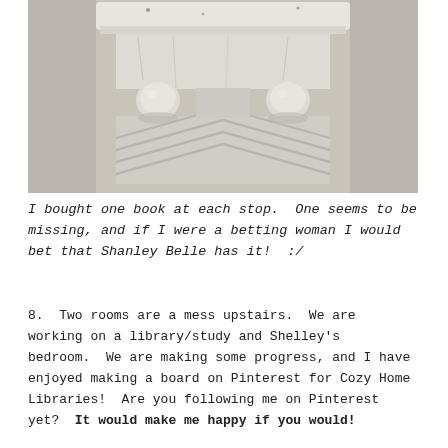[Figure (photo): A white painted wooden architectural corbel or bracket, with ornate carved detailing including chevron patterns and ball-shaped supports, mounted against a light gray wall. The paint shows distressed, aged texture.]
I bought one book at each stop.  One seems to be missing, and if I were a betting woman I would bet that Shanley Belle has it!  :/
8.  Two rooms are a mess upstairs.  We are working on a library/study and Shelley's bedroom.  We are making some progress, and I have enjoyed making a board on Pinterest for Cozy Home Libraries!  Are you following me on Pinterest yet?  It would make me happy if you would!